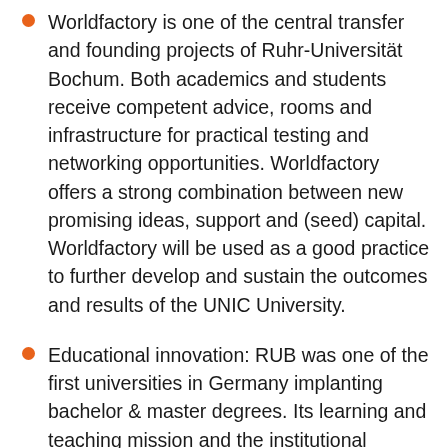Worldfactory is one of the central transfer and founding projects of Ruhr-Universität Bochum. Both academics and students receive competent advice, rooms and infrastructure for practical testing and networking opportunities. Worldfactory offers a strong combination between new promising ideas, support and (seed) capital. Worldfactory will be used as a good practice to further develop and sustain the outcomes and results of the UNIC University.
Educational innovation: RUB was one of the first universities in Germany implanting bachelor & master degrees. Its learning and teaching mission and the institutional strategy to promote research-oriented teaching aims to empower students for their future professional life and civic engagement